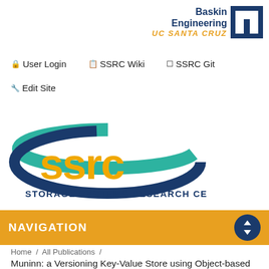[Figure (logo): Baskin Engineering UC Santa Cruz logo with blue text and geometric H icon]
🔒 User Login   📋 SSRC Wiki   ☐ SSRC Git
🔧 Edit Site
[Figure (logo): SSRC Storage Systems Research Center logo with teal arc over blue letters and yellow ssrc text]
NAVIGATION
Home / All Publications /
Muninn: a Versioning Key-Value Store using Object-based